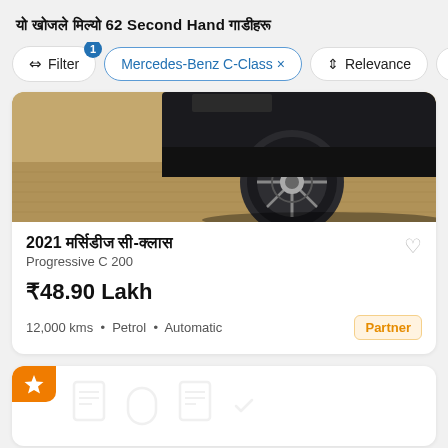यो खोजले मिल्यो 62 Second Hand गाडीहरू
Filter | Mercedes-Benz C-Class × | Relevance | Cate
[Figure (photo): Close-up photo of a Mercedes-Benz C-Class wheel and lower body on a cobblestone surface]
2021 मर्सिडीज-बेन्ज सी-क्लास
Progressive C 200
₹48.90 Lakh
12,000 kms • Petrol • Automatic
[Figure (infographic): Second listing card with an orange star badge and faint document/car icons]